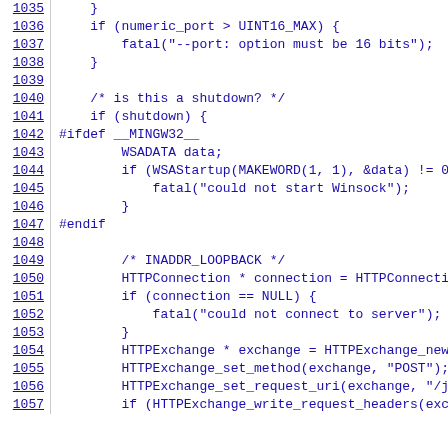[Figure (screenshot): Source code listing showing C code lines 1035-1057, with line numbers on the left in blue underlined text and code on the right in blue monospace font. The code includes conditionals for numeric port checking, shutdown handling, MINGW32 preprocessor directives with WSADATA and WSAStartup, and HTTP connection setup code.]